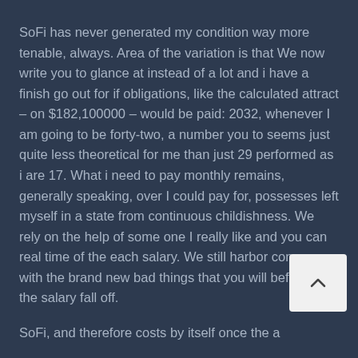SoFi has never generated my condition way more tenable, always. Area of the variation is that We now write you to glance at instead of a lot and i have a finish go out for if obligations, like the calculated attract – on $182,100000 – would be paid: 2032, whenever I am going to be forty-two, a number you to seems just quite less theoretical for me than just 29 performed as i are 17. What i need to pay monthly remains, generally speaking, over I could pay for, possesses left myself in a state from continuous childishness. We rely on the help of some one I really like and you can real time of the each salary. We still harbor concern with the brand new bad things that you will befall me if the salary fall off.
SoFi, and therefore costs by itself once the a